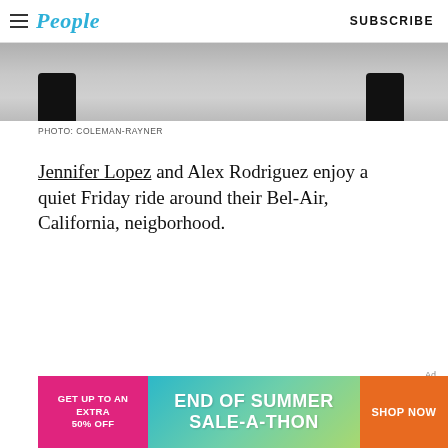People | SUBSCRIBE
[Figure (photo): Cropped bottom portion of a photo showing two black car tires/wheels on a concrete surface]
PHOTO: COLEMAN-RAYNER
Jennifer Lopez and Alex Rodriguez enjoy a quiet Friday ride around their Bel-Air, California, neigborhood.
[Figure (other): Advertisement banner: GET UP TO AN EXTRA 50% OFF | END OF SUMMER SALE-A-THON | SHOP NOW]